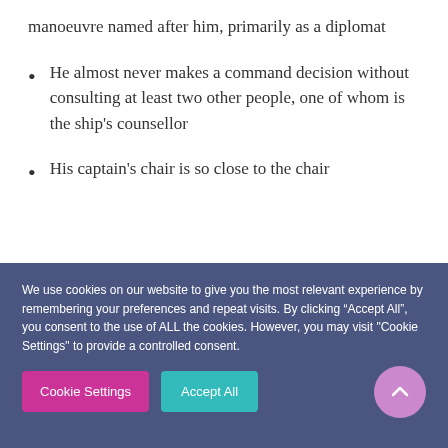manoeuvre named after him, primarily as a diplomat
He almost never makes a command decision without consulting at least two other people, one of whom is the ship's counsellor
His captain's chair is so close to the chair
We use cookies on our website to give you the most relevant experience by remembering your preferences and repeat visits. By clicking “Accept All”, you consent to the use of ALL the cookies. However, you may visit "Cookie Settings" to provide a controlled consent.